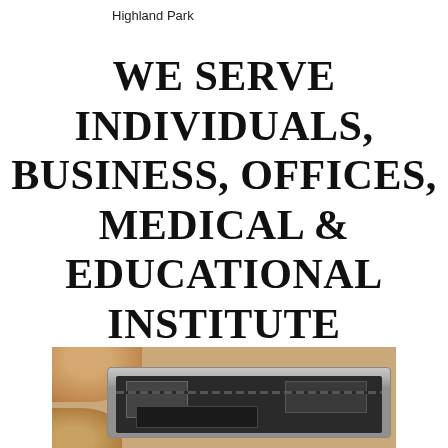Highland Park
WE SERVE INDIVIDUALS, BUSINESS, OFFICES, MEDICAL & EDUCATIONAL INSTITUTE
[Figure (photo): A hand holding an open laptop showing internal circuit board components and hardware]